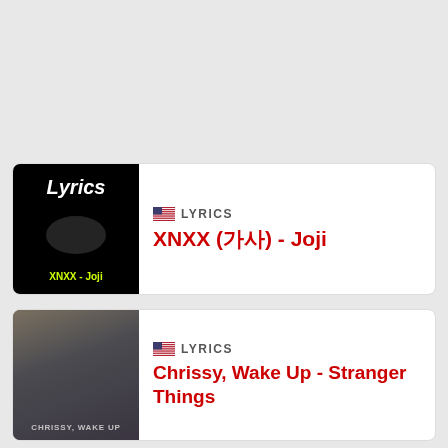[Figure (screenshot): Thumbnail for XNXX - Joji lyrics page: black background with 'Lyrics' in white italic bold and 'XNXX - Joji' in yellow-green below]
LYRICS
XNXX (가사) - Joji
[Figure (screenshot): Thumbnail for Chrissy, Wake Up - Stranger Things: two people in a scene, overlay text 'CHRISSY, WAKE UP']
LYRICS
Chrissy, Wake Up - Stranger Things
[Figure (screenshot): Partial thumbnail for a third lyrics entry, blue background]